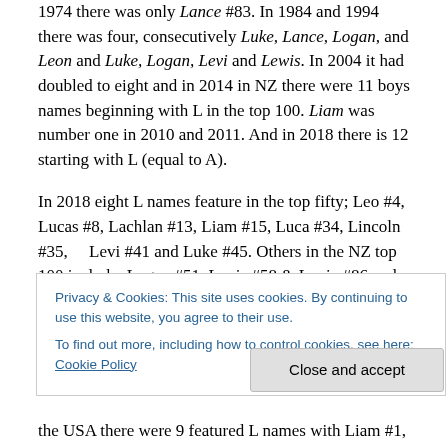1974 there was only Lance #83. In 1984 and 1994 there was four, consecutively Luke, Lance, Logan, and Leon and Luke, Logan, Levi and Lewis. In 2004 it had doubled to eight and in 2014 in NZ there were 11 boys names beginning with L in the top 100. Liam was number one in 2010 and 2011. And in 2018 there is 12 starting with L (equal to A).
In 2018 eight L names feature in the top fifty; Leo #4, Lucas #8, Lachlan #13, Liam #15, Luca #34, Lincoln #35, Levi #41 and Luke #45. Others in the NZ top 100 include: Logan #51, Louis #58 & Louie #86 and Luka #88.
Privacy & Cookies: This site uses cookies. By continuing to use this website, you agree to their use. To find out more, including how to control cookies, see here: Cookie Policy
Close and accept
the USA there were 9 featured L names with Liam #1,